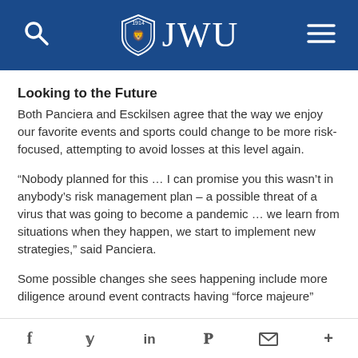JWU
Looking to the Future
Both Panciera and Esckilsen agree that the way we enjoy our favorite events and sports could change to be more risk-focused, attempting to avoid losses at this level again.
“Nobody planned for this … I can promise you this wasn’t in anybody’s risk management plan – a possible threat of a virus that was going to become a pandemic … we learn from situations when they happen, we start to implement new strategies,” said Panciera.
Some possible changes she sees happening include more diligence around event contracts having “force majeure”
f  y  in  P  ✉  +